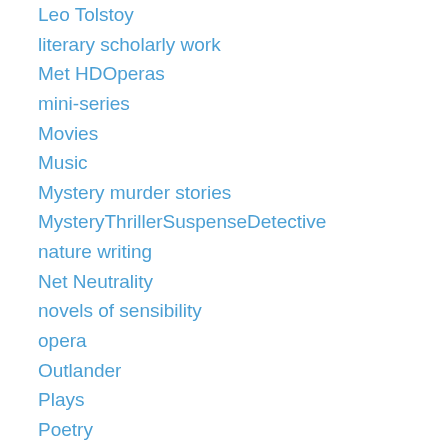Leo Tolstoy
literary scholarly work
Met HDOperas
mini-series
Movies
Music
Mystery murder stories
MysteryThrillerSuspenseDetective
nature writing
Net Neutrality
novels of sensibility
opera
Outlander
Plays
Poetry
Poldark
political novels/films
politics
post-colonialism
racism